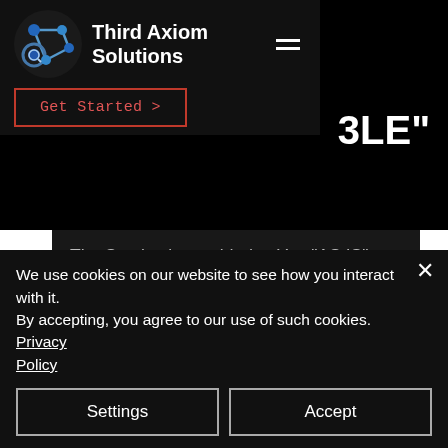[Figure (screenshot): Third Axiom Solutions navigation bar with logo, brand name, hamburger menu icon, and a 'Get Started >' button with red border]
3LE"
The Service is provided to You "AS IS" and "AS AVAILABLE" and with all faults and defects without warranty of any kind. To the maximum extent permitted under applicable law, the Company, on its own behalf and on behalf of its
We use cookies on our website to see how you interact with it. By accepting, you agree to our use of such cookies. Privacy Policy
Settings
Accept